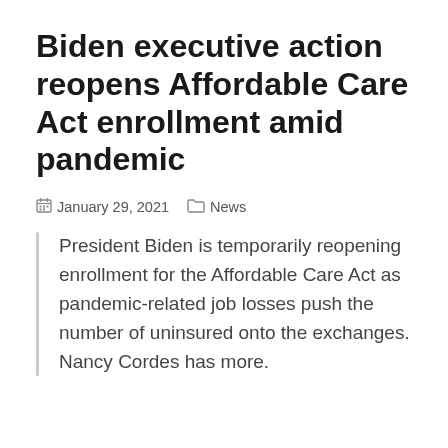Biden executive action reopens Affordable Care Act enrollment amid pandemic
January 29, 2021   News
President Biden is temporarily reopening enrollment for the Affordable Care Act as pandemic-related job losses push the number of uninsured onto the exchanges. Nancy Cordes has more.